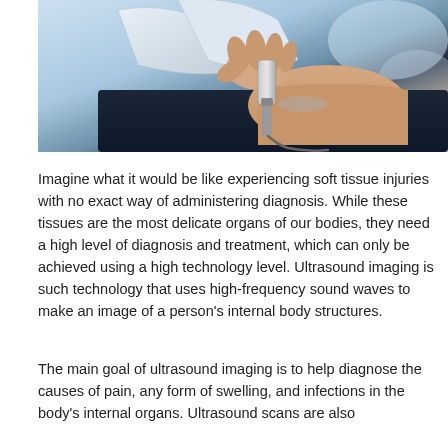[Figure (photo): A healthcare professional holding an ultrasound probe against a patient's abdomen, performing an ultrasound scan. The clinician is wearing a white coat and the patient's skin is visible.]
Imagine what it would be like experiencing soft tissue injuries with no exact way of administering diagnosis. While these tissues are the most delicate organs of our bodies, they need a high level of diagnosis and treatment, which can only be achieved using a high technology level. Ultrasound imaging is such technology that uses high-frequency sound waves to make an image of a person's internal body structures.
The main goal of ultrasound imaging is to help diagnose the causes of pain, any form of swelling, and infections in the body's internal organs. Ultrasound scans are also